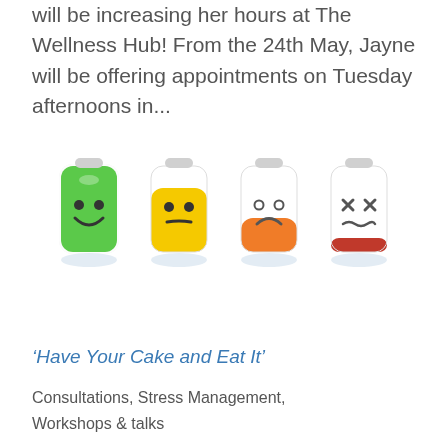will be increasing her hours at The Wellness Hub! From the 24th May, Jayne will be offering appointments on Tuesday afternoons in...
[Figure (illustration): Four cartoon battery characters showing different energy/emotion levels: full green battery with happy face, medium yellow battery with neutral/sad face, low orange battery with sad face, and nearly empty battery with X eyes and distressed face.]
‘Have Your Cake and Eat It’
Consultations, Stress Management, Workshops & talks